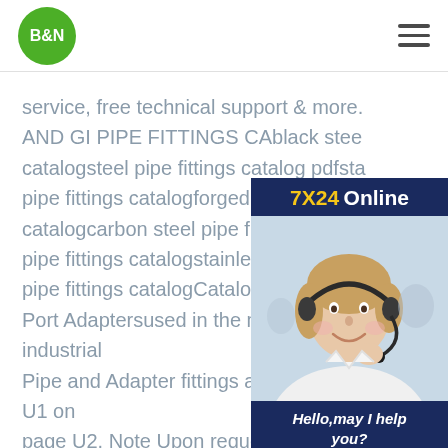B&N logo and navigation
service, free technical support & more. AND GI PIPE FITTINGS CAblack steel catalogsteel pipe fittings catalog pdfsta pipe fittings catalogforged steel pipe fit catalogcarbon steel pipe fitting catalog pipe fittings catalogstainless pipe and f pipe fittings catalogCatalog 4300 Pipe Port Adaptersused in the manufacture of industrial Pipe and Adapter fittings are shown in Table U1 on page U2. Note Upon request, pipe fittings, adapters and plugs could be furnished in materials other than those shown in the material specifications chart. Finish - Zinc plating with silver chromate (zinc
[Figure (illustration): 7X24 Online chat widget with a customer service representative wearing a headset, Hello may I help you? message, and Get Latest Price button]